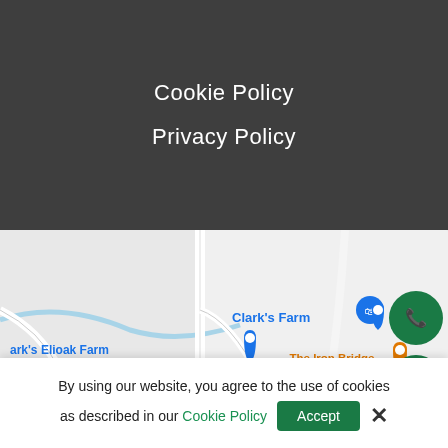Cookie Policy
Privacy Policy
[Figure (map): Google Maps view showing Clark's Farm, Clark's Elioak Farm, The Iron Bridge Wine Company (orange pin), The Columbia Inn at Peralynna (pink text), and route 108. Two green circular buttons: phone and scroll-up arrow overlaid on the right side of the map.]
By using our website, you agree to the use of cookies as described in our Cookie Policy
Accept